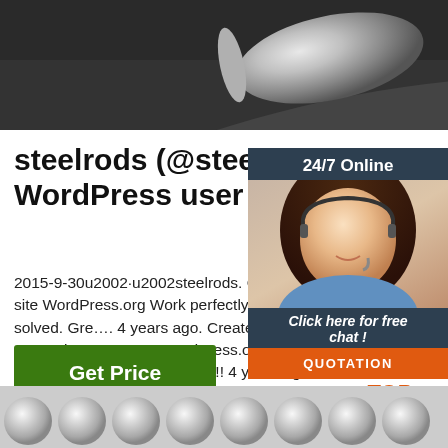[Figure (photo): Black and white photo of steel rods/cylinders on a dark surface, top of page]
steelrods (@steelrods) WordPress user profile
2015-9-30u2002·u2002steelrods. Create Great Plugin, on the site WordPress.org Work perfectly for me, my free support w solved. Gre…. 4 years ago. Created a to Useful and easy to customize, Great!!, o WordPress.org Forums: Easy, simple wi professional touch. Awesome!! 4 years ago.
[Figure (infographic): 24/7 Online widget with woman wearing headset, 'Click here for free chat!' text, and orange QUOTATION button]
Get Price
[Figure (logo): Orange TOP logo with dots arranged in triangle above the text TOP]
[Figure (photo): Bottom image showing multiple steel rod cross-sections (circles) in grey tones]